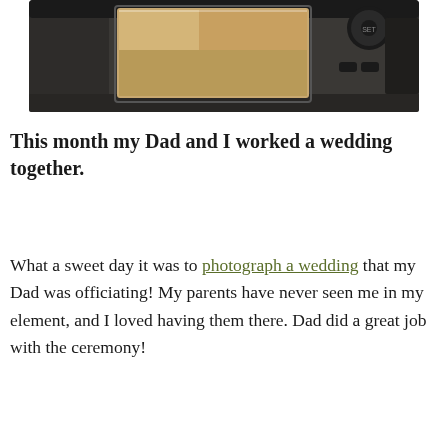[Figure (photo): A DSLR camera viewed from behind, showing its LCD screen displaying someone in a kitchen. The camera body is black with control dials visible. The scene is shot at a slight angle.]
This month my Dad and I worked a wedding together.
What a sweet day it was to photograph a wedding that my Dad was officiating! My parents have never seen me in my element, and I loved having them there. Dad did a great job with the ceremony!